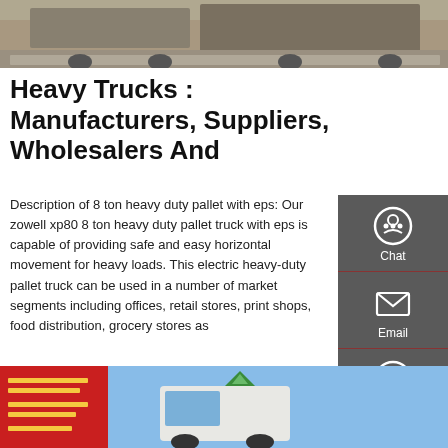[Figure (photo): Top portion of trucks on a road/pavement, partially cropped]
Heavy Trucks : Manufacturers, Suppliers, Wholesalers And
Description of 8 ton heavy duty pallet with eps: Our zowell xp80 8 ton heavy duty pallet truck with eps is capable of providing safe and easy horizontal movement for heavy loads. This electric heavy-duty pallet truck can be used in a number of market segments including offices, retail stores, print shops, food distribution, grocery stores as
GET A QUOTE
[Figure (screenshot): Right sidebar with dark grey background containing Chat, Email, and Contact icons/buttons]
[Figure (photo): Bottom photo showing a Chinese heavy truck dealership building with red facade and yellow text, with a white truck cab visible]